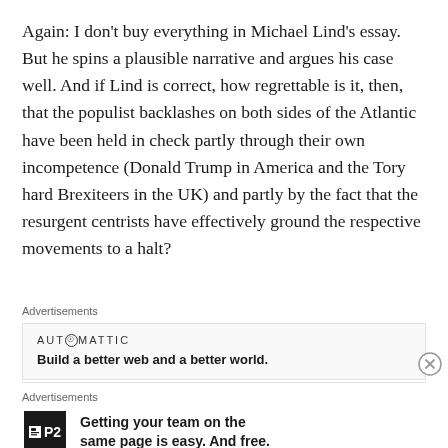Again: I don't buy everything in Michael Lind's essay. But he spins a plausible narrative and argues his case well. And if Lind is correct, how regrettable is it, then, that the populist backlashes on both sides of the Atlantic have been held in check partly through their own incompetence (Donald Trump in America and the Tory hard Brexiteers in the UK) and partly by the fact that the resurgent centrists have effectively ground the respective movements to a halt?
Advertisements
[Figure (other): Advertisement banner for Automattic: logo text 'AUT⊙MATTIC' and tagline 'Build a better web and a better world.']
Advertisements
[Figure (other): Advertisement banner for P2: logo showing black square with 'P2' text and tagline 'Getting your team on the same page is easy. And free.']